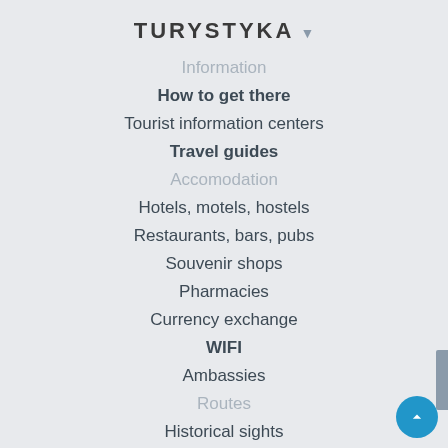TURYSTYKA
Information
How to get there
Tourist information centers
Travel guides
Accomodation
Hotels, motels, hostels
Restaurants, bars, pubs
Souvenir shops
Pharmacies
Currency exchange
WIFI
Ambassies
Routes
Historical sights